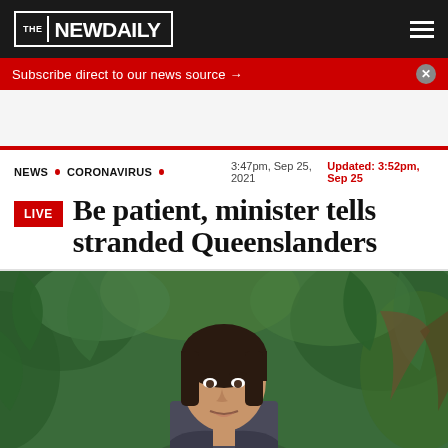THE NEWDAILY
Subscribe direct to our news source →
NEWS • CORONAVIRUS • 3:47pm, Sep 25, 2021   Updated: 3:52pm, Sep 25
Be patient, minister tells stranded Queenslanders
[Figure (photo): A woman with dark hair speaking outdoors in front of green foliage, appearing to be a reporter or minister giving a statement.]